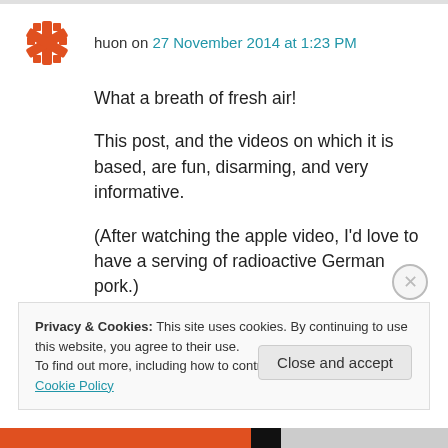huon on 27 November 2014 at 1:23 PM
What a breath of fresh air!
This post, and the videos on which it is based, are fun, disarming, and very informative.
(After watching the apple video, I'd love to have a serving of radioactive German pork.)
Privacy & Cookies: This site uses cookies. By continuing to use this website, you agree to their use. To find out more, including how to control cookies, see here: Cookie Policy
Close and accept